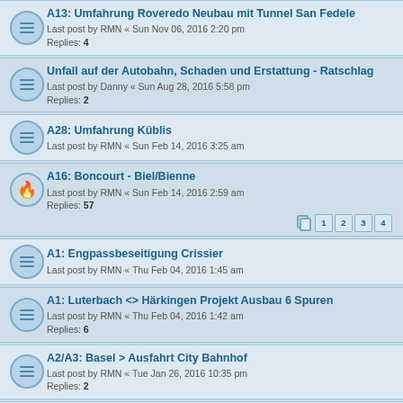A13: Umfahrung Roveredo Neubau mit Tunnel San Fedele
Last post by RMN « Sun Nov 06, 2016 2:20 pm
Replies: 4
Unfall auf der Autobahn, Schaden und Erstattung - Ratschlag
Last post by Danny « Sun Aug 28, 2016 5:58 pm
Replies: 2
A28: Umfahrung Küblis
Last post by RMN « Sun Feb 14, 2016 3:25 am
A16: Boncourt - Biel/Bienne
Last post by RMN « Sun Feb 14, 2016 2:59 am
Replies: 57
A1: Engpassbeseitigung Crissier
Last post by RMN « Thu Feb 04, 2016 1:45 am
A1: Luterbach <> Härkingen Projekt Ausbau 6 Spuren
Last post by RMN « Thu Feb 04, 2016 1:42 am
Replies: 6
A2/A3: Basel > Ausfahrt City Bahnhof
Last post by RMN « Tue Jan 26, 2016 10:35 pm
Replies: 2
A28: Umfahrung Saas
Last post by Rising Sun « Wed Jan 13, 2016 10:53 pm
Replies: 5
Kilometrierung Hauptstrassen Zürich
Last post by RMN « Fri Oct 16, 2015 1:59 am
Replies: 2